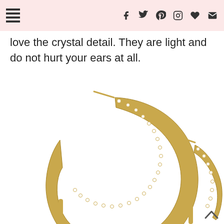Navigation and social icons header
love the crystal detail. They are light and do not hurt your ears at all.
[Figure (photo): Two gold hoop earrings with crystal/rhinestone detail, shown on a white background. The hoops are open-style with small diamonds or crystals embedded along the outer edge and a gold post at the top.]